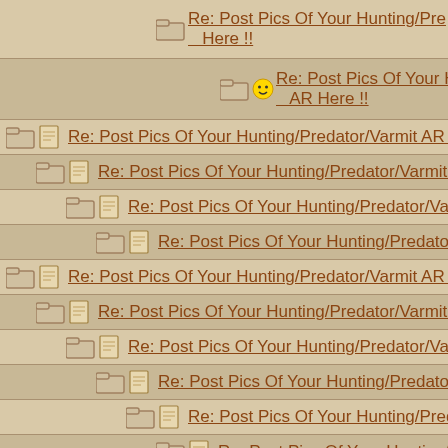Re: Post Pics Of Your Hunting/Pre... Here !!
Re: Post Pics Of Your Hunting/P... AR Here !!
Re: Post Pics Of Your Hunting/Predator/Varmit AR Here !!
Re: Post Pics Of Your Hunting/Predator/Varmit AR Here !!
Re: Post Pics Of Your Hunting/Predator/Varmit AR Here !!
Re: Post Pics Of Your Hunting/Predator/Varmit AR Here
Re: Post Pics Of Your Hunting/Predator/Varmit AR Here !!
Re: Post Pics Of Your Hunting/Predator/Varmit AR Here !!
Re: Post Pics Of Your Hunting/Predator/Varmit AR Here !!
Re: Post Pics Of Your Hunting/Predator/Varmit AR Here
Re: Post Pics Of Your Hunting/Predator/Varmit AR He...
Re: Post Pics Of Your Hunting/Predator/Varmit AR H...
Re: Post Pics Of Your Hunting/Predator/Varmit AR...
Re: Post Pics Of Your Hunting/Predator/Varmit
Re: Post Pics Of Your Hunting/Predator/Varm...
Re: Post Pics Of Your Hunting/Predator/Varmit AR Here !!
Re: Post Pics Of Your Hunting/Predator/Varmit AR Here !!